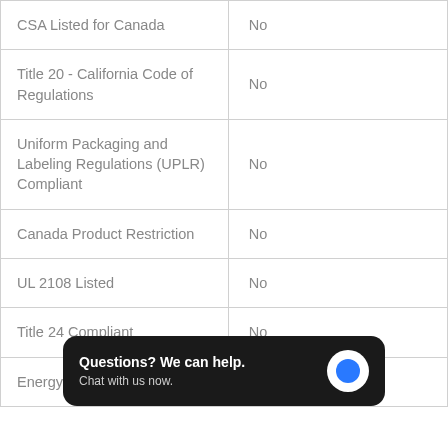| Property | Value |
| --- | --- |
| CSA Listed for Canada | No |
| Title 20 - California Code of Regulations | No |
| Uniform Packaging and Labeling Regulations (UPLR) Compliant | No |
| Canada Product Restriction | No |
| UL 2108 Listed | No |
| Title 24 Compliant | No |
| Energy Policy Compliant | No |